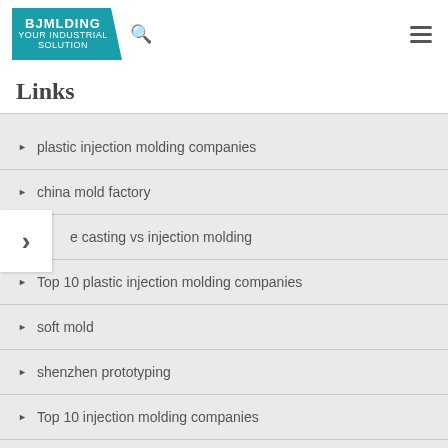[Figure (logo): BJMolding company logo - teal/blue parallelogram shape with white text]
Links
plastic injection molding companies
china mold factory
e casting vs injection molding
Top 10 plastic injection molding companies
soft mold
shenzhen prototyping
Top 10 injection molding companies
pvc injection molding
Temporary Fence